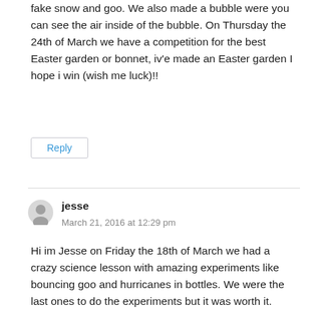fake snow and goo. We also made a bubble were you can see the air inside of the bubble. On Thursday the 24th of March we have a competition for the best Easter garden or bonnet, iv'e made an Easter garden I hope i win (wish me luck)!!
Reply
jesse
March 21, 2016 at 12:29 pm
Hi im Jesse on Friday the 18th of March we had a crazy science lesson with amazing experiments like bouncing goo and hurricanes in bottles. We were the last ones to do the experiments but it was worth it. With the bouncing goo we had to mix glue with food colouring and the scientist put a drop of this liquid in. At the end of the day I guess it was one of the greatist lessons ever!